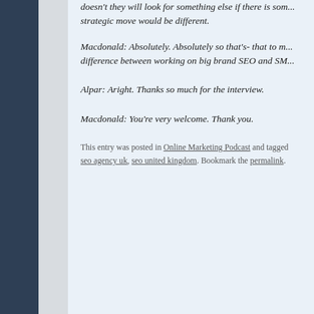doesn't they will look for something else if there is something else if there is some... strategic move would be different.
Macdonald: Absolutely. Absolutely so that's- that to me is the difference between working on big brand SEO and SM...
Alpar: Aright. Thanks so much for the interview.
Macdonald: You're very welcome. Thank you.
This entry was posted in Online Marketing Podcast and tagged seo agency uk, seo united kingdom. Bookmark the permalink.
← Episode 4: Interview with Joost de Valk   Episo...